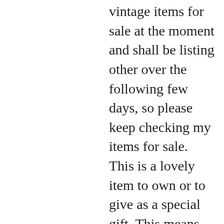vintage items for sale at the moment and shall be listing other over the following few days, so please keep checking my items for sale. This is a lovely item to own or to give as a special gift. This means they have the usual aspects of pre-owned jewellery. If there is a major dent, ding, flaw, or bend, it will be noted under the basic information. Please review all photos closely, since they are a large part of my item description. (all made with daylight, to show the colour as authentic as possible). I check myself each product and sell only the best quality products. In any case, if you are not satisfied with the product